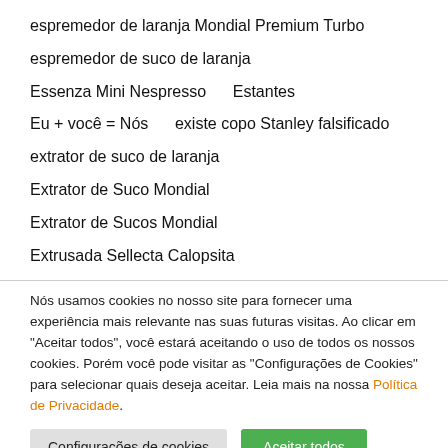espremedor de laranja Mondial Premium Turbo
espremedor de suco de laranja
Essenza Mini Nespresso    Estantes
Eu + você = Nós    existe copo Stanley falsificado
extrator de suco de laranja
Extrator de Suco Mondial
Extrator de Sucos Mondial
Extrusada Sellecta Calopsita
Nós usamos cookies no nosso site para fornecer uma experiência mais relevante nas suas futuras visitas. Ao clicar em "Aceitar todos", você estará aceitando o uso de todos os nossos cookies. Porém você pode visitar as "Configurações de Cookies" para selecionar quais deseja aceitar. Leia mais na nossa Política de Privacidade.
Configurações de cookies | Aceitar todos